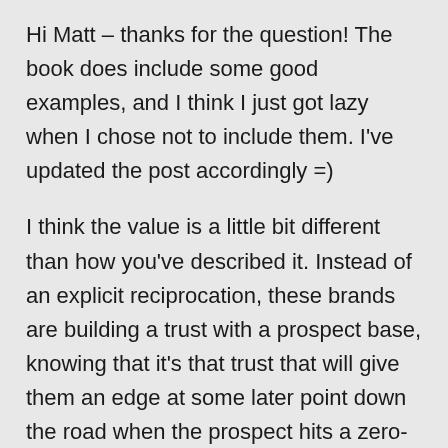Hi Matt – thanks for the question! The book does include some good examples, and I think I just got lazy when I chose not to include them. I've updated the post accordingly =)
I think the value is a little bit different than how you've described it. Instead of an explicit reciprocation, these brands are building a trust with a prospect base, knowing that it's that trust that will give them an edge at some later point down the road when the prospect hits a zero-moment of purchase decision. So it's not a feeling of obligation to stick with a brand that drives the consumer choice, it's the trust that's been built up over time.